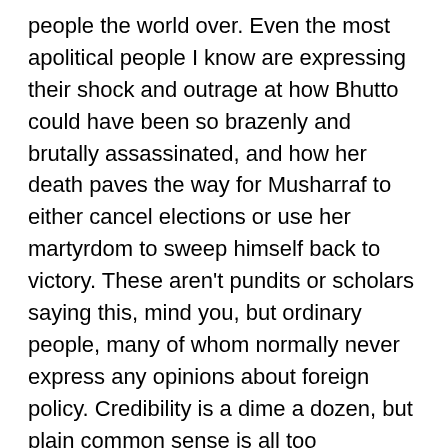people the world over. Even the most apolitical people I know are expressing their shock and outrage at how Bhutto could have been so brazenly and brutally assassinated, and how her death paves the way for Musharraf to either cancel elections or use her martyrdom to sweep himself back to victory. These aren't pundits or scholars saying this, mind you, but ordinary people, many of whom normally never express any opinions about foreign policy. Credibility is a dime a dozen, but plain common sense is all too uncommon these days, so I'm glad to see so many Americans registering their horror at the murder–and murder it was–of Bhutto.
That's how deeply this has shaken us. As Pakistan descends into violence and fury, and our supposedly stalwart ally in the War on Terra shudders and shakes with its unrest, we are realizing just how badly we've bungled our affairs on the international stage, and how we've sundered coalitions with our allies and friends and made